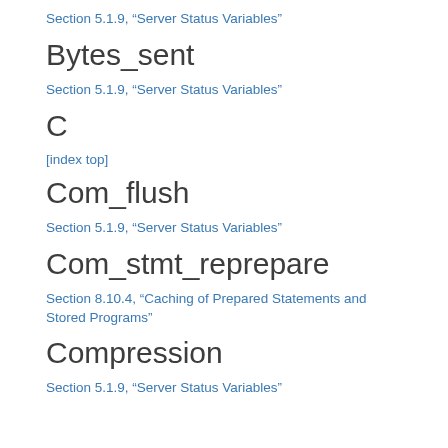Section 5.1.9, “Server Status Variables”
Bytes_sent
Section 5.1.9, “Server Status Variables”
C
[index top]
Com_flush
Section 5.1.9, “Server Status Variables”
Com_stmt_reprepare
Section 8.10.4, “Caching of Prepared Statements and Stored Programs”
Compression
Section 5.1.9, “Server Status Variables”